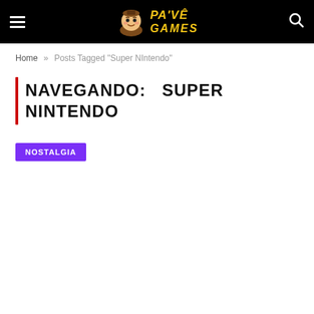PA'VÊ GAMES
Home » Posts Tagged "Super NIntendo"
NAVEGANDO:   SUPER NINTENDO
NOSTALGIA